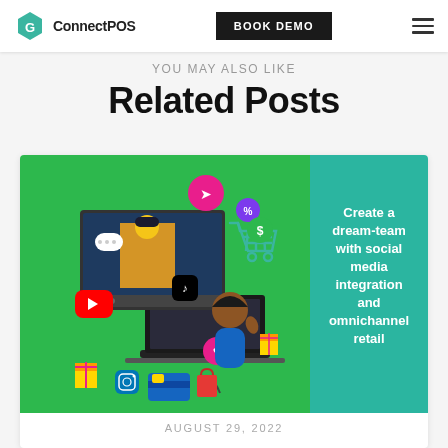ConnectPOS | BOOK DEMO
YOU MAY ALSO LIKE
Related Posts
[Figure (illustration): Illustration showing a woman with social media icons (YouTube, TikTok, Instagram, heart), a shopping cart with dollar sign, gift boxes, credit card, and a laptop. Right panel (teal) reads: 'Create a dream-team with social media integration and omnichannel retail']
AUGUST 29, 2022